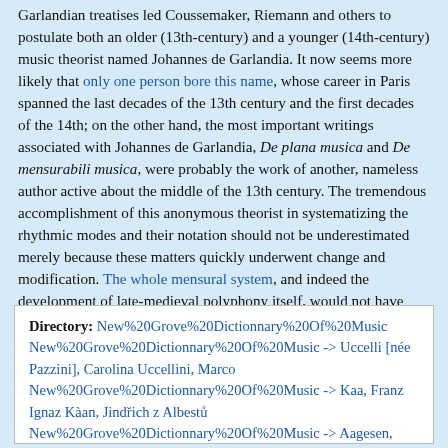Garlandian treatises led Coussemaker, Riemann and others to postulate both an older (13th-century) and a younger (14th-century) music theorist named Johannes de Garlandia. It now seems more likely that only one person bore this name, whose career in Paris spanned the last decades of the 13th century and the first decades of the 14th; on the other hand, the most important writings associated with Johannes de Garlandia, De plana musica and De mensurabili musica, were probably the work of another, nameless author active about the middle of the 13th century. The tremendous accomplishment of this anonymous theorist in systematizing the rhythmic modes and their notation should not be underestimated merely because these matters quickly underwent change and modification. The whole mensural system, and indeed the development of late-medieval polyphony itself, would not have been possible without the systematic formulation of the theory of Notre Dame polyphony in De mensurabili musica.
Directory: New%20Grove%20Dictionnary%20Of%20Music New%20Grove%20Dictionnary%20Of%20Music -> Uccelli [née Pazzini], Carolina Uccellini, Marco New%20Grove%20Dictionnary%20Of%20Music -> Kaa, Franz Ignaz Kàan, Jindřich z Albestů New%20Grove%20Dictionnary%20Of%20Music -> Aagesen,